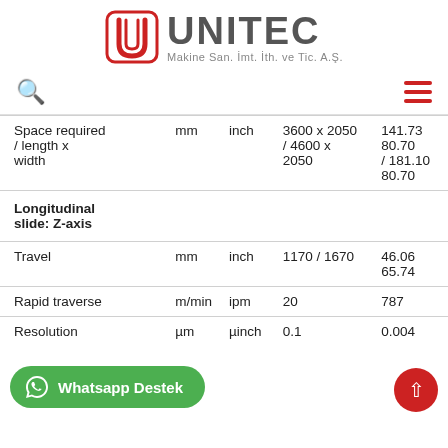[Figure (logo): UNITEC logo with red U icon and text 'UNITEC Makine San. İmt. İth. ve Tic. A.Ş.']
| Parameter | Unit (metric) | Unit (imperial) | Value (metric) | Value (imperial) |
| --- | --- | --- | --- | --- |
| Space required / length x width | mm | inch | 3600 x 2050 / 4600 x 2050 | 141.73 80.70 / 181.10 80.70 |
| Longitudinal slide: Z-axis |  |  |  |  |
| Travel | mm | inch | 1170 / 1670 | 46.06 / 65.74 |
| Rapid traverse | m/min | ipm | 20 | 787 |
| Resolution | µm | µinch | 0.1 | 0.004 |